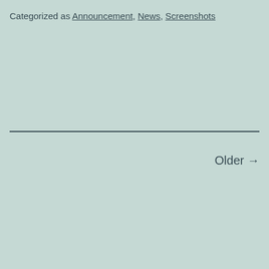Categorized as Announcement, News, Screenshots
Older →